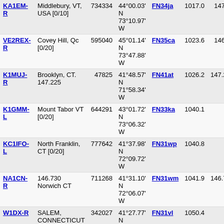| Callsign | Location | ID | Coordinates | Grid | Dist | Freq |
| --- | --- | --- | --- | --- | --- | --- |
| KA1EM-R | Middlebury, VT, USA [0/10] | 734334 | 44°00.03' N 73°10.97' W | FN34ja | 1017.0 | 147. |
| VE2REX-R | Covey Hill, Qc [0/20] | 595040 | 45°01.14' N 73°47.88' W | FN35ca | 1023.6 | 146. |
| K1MUJ-R | Brooklyn, CT. 147.225 | 47825 | 41°48.57' N 71°58.34' W | FN41at | 1026.2 | 147.2 |
| K1GMM-L | Mount Tabor VT [0/20] | 644291 | 43°01.72' N 73°06.32' W | FN33ka | 1040.1 |  |
| KC1IFO-L | North Franklin, CT [0/20] | 777642 | 41°37.98' N 72°09.72' W | FN31wp | 1040.8 |  |
| NA1CN-R | 146.730 Norwich CT | 711268 | 41°31.10' N 72°06.07' W | FN31wm | 1041.9 | 146.7 |
| W1DX-R | SALEM, CONNECTICUT | 342027 | 41°27.77' N 72°14.75' W | FN31vl | 1050.4 |  |
| KC1QVT-L | Home [0/20] | 879893 | 41°46.56' N 72°31.29' W | FN31rs | 1052.2 |  |
| VA3PRA-R | Alfred Ontario [0/20] | 204883 | 45°33.17' N 74°53.18' W | FN25nn | 1064.2 |  |
| VE3PGC-L | [offline] | 463095 | 45°08.46' N 74°49.89' W | FN25od | 1069.5 | 443.6 |
| K2DLL-R | Saratoga Springs | 462972 | 43°11.93' N | FN33be | 1071.8 | 147. |